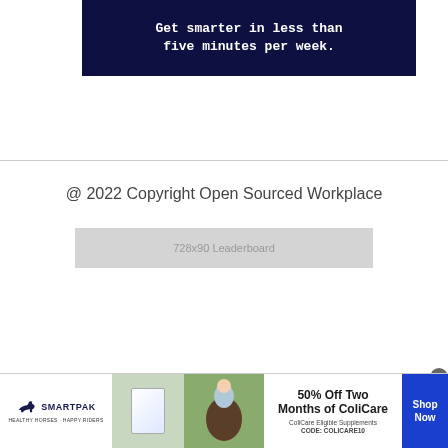[Figure (other): Dark navy blue banner with white bold monospace text reading 'Get smarter in less than five minutes per week.']
@ 2022 Copyright Open Sourced Workplace
[Figure (other): Gray rectangular placeholder labeled '728x90 Leaderboard']
[Figure (other): SmartPak advertisement banner at bottom: SmartPak logo on left, product image, horse photo with person, '50% Off Two Months of ColiCare, ColiCare Eligible Supplements, CODE: COLICARE10', and blue 'Shop Now' button on right. Close (x) button in top-right corner.]